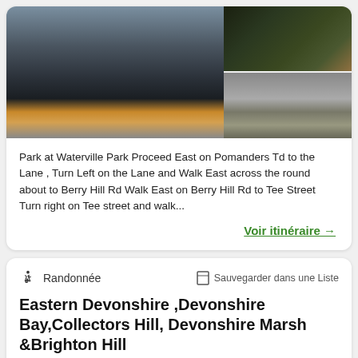[Figure (photo): Left large photo: sunset/dusk landscape with silhouetted palm trees and utility poles against an orange and blue sky]
[Figure (photo): Top right photo: nighttime trees/vegetation scene]
[Figure (photo): Bottom right photo: stone wall or rock structure with vegetation]
Park at Waterville Park Proceed East on Pomanders Td to the Lane , Turn Left on the Lane and Walk East across the round about to Berry Hill Rd Walk East on Berry Hill Rd to Tee Street Turn right on Tee street and walk...
Voir itinéraire →
Randonnée
Sauvegarder dans une Liste
Eastern Devonshire ,Devonshire Bay,Collectors Hill, Devonshire Marsh &amp;Brighton Hill
près de Camden, Paget Parish (Bermudi)
Distance
Dénivelé +
TrailRank
6.35km
69m
30